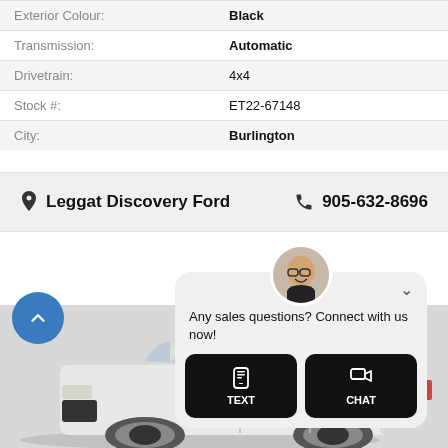| Exterior Colour: | Black |
| Transmission: | Automatic |
| Drivetrain: | 4x4 |
| Stock #: | ET22-67148 |
| City: | Burlington |
Leggat Discovery Ford   905-632-8696
[Figure (photo): White Ford EcoSport SUV viewed from front-left angle against a light background, with a chat popup overlay featuring a smiling man avatar, text 'Any sales questions? Connect with us now!' and TEXT and CHAT buttons]